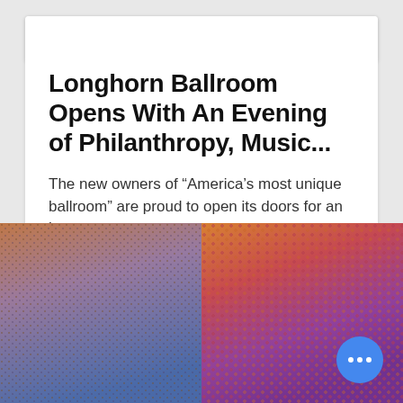Sep 9, 2017 · 4 min
Longhorn Ballroom Opens With An Evening of Philanthropy, Music...
The new owners of “America’s most unique ballroom” are proud to open its doors for an inaugur...
[Figure (photo): Two side-by-side close-up photos of textured surfaces: left image shows a foam or carpet material transitioning from reddish-brown at top to blue at bottom; right image shows a colorful coiled/curly fibrous material in orange, pink, and purple tones.]